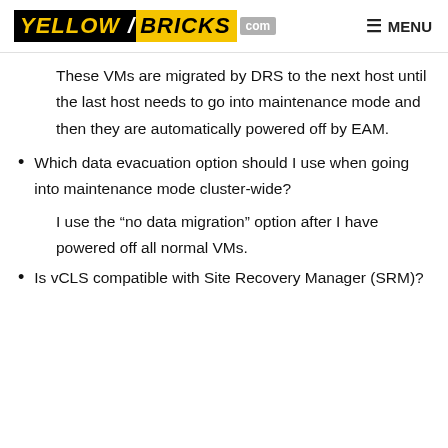YELLOW/BRICKS.com — MENU
These VMs are migrated by DRS to the next host until the last host needs to go into maintenance mode and then they are automatically powered off by EAM.
Which data evacuation option should I use when going into maintenance mode cluster-wide?
I use the “no data migration” option after I have powered off all normal VMs.
Is vCLS compatible with Site Recovery Manager (SRM)?